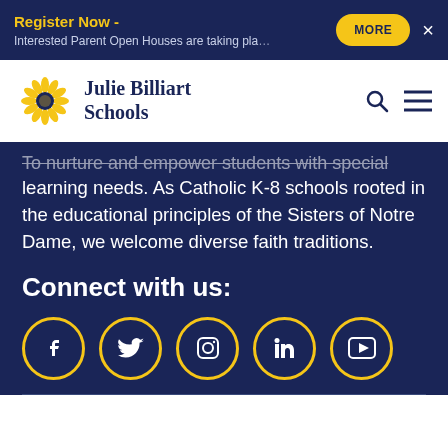Register Now - Interested Parent Open Houses are taking pla…
[Figure (logo): Julie Billiart Schools sunflower logo with school name]
To nurture and empower students with special learning needs. As Catholic K-8 schools rooted in the educational principles of the Sisters of Notre Dame, we welcome diverse faith traditions.
Connect with us:
[Figure (infographic): Row of social media icons: Facebook, Twitter, Instagram, LinkedIn, YouTube — each in a gold circle outline]